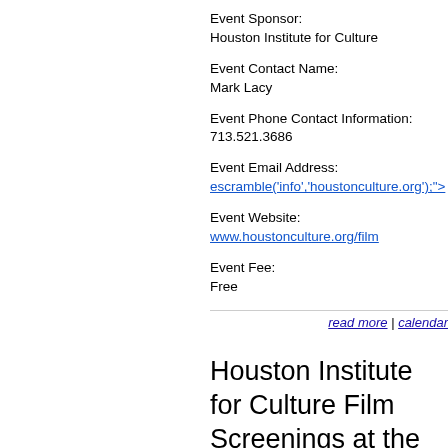Event Sponsor:
Houston Institute for Culture
Event Contact Name:
Mark Lacy
Event Phone Contact Information:
713.521.3686
Event Email Address:
escramble('info','houstonculture.org');">
Event Website:
www.houstonculture.org/film
Event Fee:
Free
read more | calendar
Houston Institute for Culture Film Screenings at the Havens Center, 1827 W. Alabama